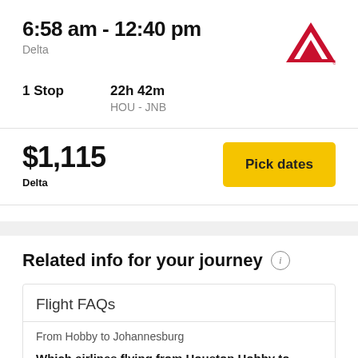6:58 am - 12:40 pm
Delta
[Figure (logo): Delta Air Lines red triangle logo]
1 Stop
22h 42m
HOU - JNB
$1,115
Delta
Pick dates
Related info for your journey
Flight FAQs
From Hobby to Johannesburg
Which airlines flying from Houston Hobby to Johannesburg have flexible cancellations due to